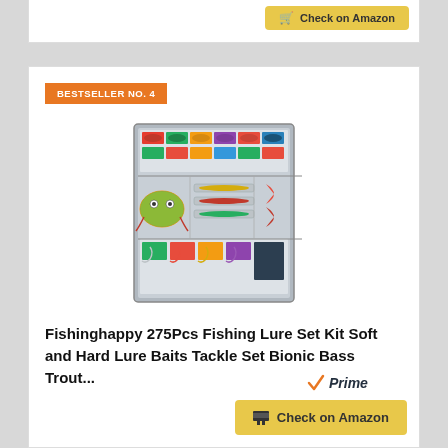[Figure (screenshot): Top portion of a card with a Check on Amazon button]
BESTSELLER NO. 4
[Figure (photo): A tackle box filled with colorful fishing lures including soft baits, hard lures, frog lures, spinner baits, and various hooks organized in compartments]
Fishinghappy 275Pcs Fishing Lure Set Kit Soft and Hard Lure Baits Tackle Set Bionic Bass Trout...
[Figure (logo): Amazon Prime logo with orange checkmark and Prime text in italic]
Check on Amazon